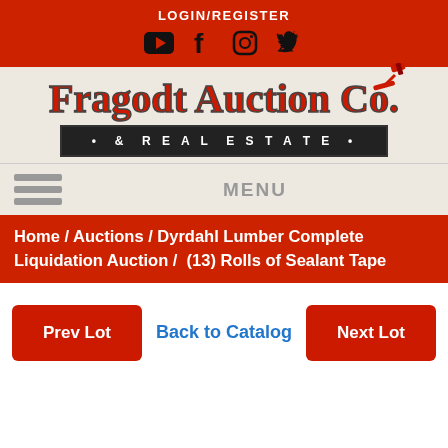LOGIN/REGISTER
[Figure (other): Social media icons: YouTube, Facebook, Instagram, Twitter]
[Figure (logo): Fragodt Auction Co. & Real Estate logo with gavel icon]
MENU
Home / Auctions / Dyrdahl Lumber Complete Liquidation Auction /  (13) Rolls of Sealant Tape
Prev Lot   Back to Catalog   Next Lot